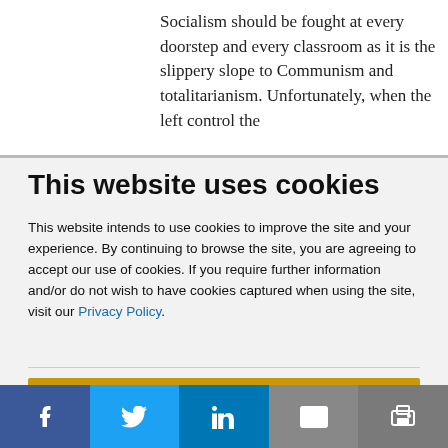Socialism should be fought at every doorstep and every classroom as it is the slippery slope to Communism and totalitarianism.  Unfortunately, when the left control the
This website uses cookies
This website intends to use cookies to improve the site and your experience. By continuing to browse the site, you are agreeing to accept our use of cookies. If you require further information and/or do not wish to have cookies captured when using the site, visit our Privacy Policy.
ACCEPT COOKIES